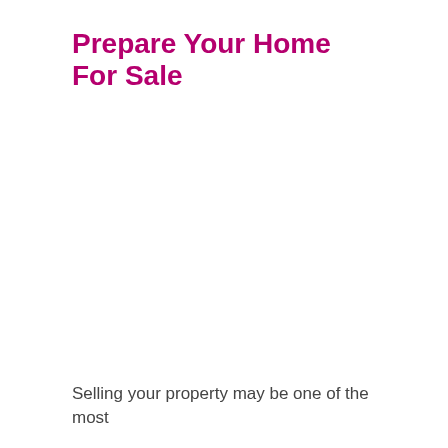Prepare Your Home For Sale
Selling your property may be one of the most